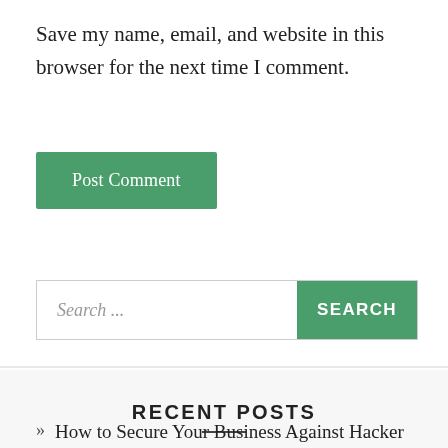Save my name, email, and website in this browser for the next time I comment.
Post Comment
Search ...
RECENT POSTS
How to Secure Your Business Against Hacker Threats